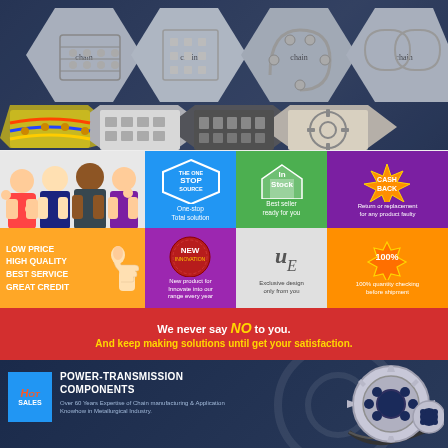[Figure (photo): Grid of hexagonal cells showing industrial chain and sprocket products on dark blue background. Products include roller chains, drive chains, timing chains, conveyor chains, and sprockets.]
[Figure (infographic): Four-panel marketing infographic. Left: team photo of smiling business people. Blue panel: THE ONE STOP SOURCE hexagon logo with 'One-stop Total solution'. Green panel: house icon with 'In Stock - Best seller ready for you'. Purple panel: CASH BACK badge - 'Return or replacement for any product faulty'.]
[Figure (infographic): Four-panel marketing infographic. Orange panel: LOW PRICE HIGH QUALITY BEST SERVICE GREAT CREDIT with thumbs up. Purple panel: NEW Innovation badge - 'New product for Innovate into our range every year'. White/grey panel: Exclusive design logo 'only from you'. Orange panel: 100% quality checking badge 'before shipment'.]
We never say NO to you. And keep making solutions until get your satisfaction.
[Figure (infographic): Dark blue panel with Hot Sales badge, POWER-TRANSMISSION COMPONENTS heading, description text about over 60 years expertise, and large sprocket/chain assembly photo on right.]
[Figure (photo): Row of four product thumbnail images: gear wheel, roller chain, sprocket, and belt/pulley on dark blue background.]